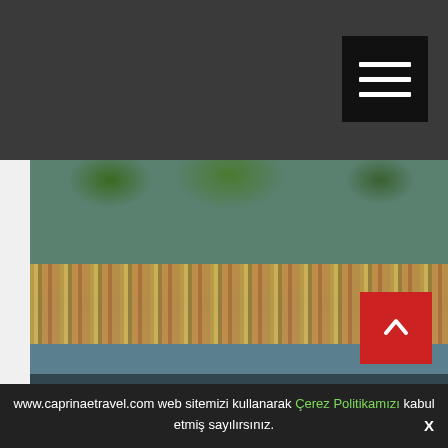[Figure (photo): Harbor with colorful boats moored at Antalya Old City and Harbor, with green trees and hillside in background]
Antalya Old City and Harbor
[Figure (photo): Aerial view of a marina/harbor bay with boats and docks, surrounded by green hills, Antalya Old City and Harbor]
Antalya Old City and Harbor
www.caprinaetravel.com web sitemizi kullanarak Çerez Politikamızı kabul etmiş sayılırsınız.